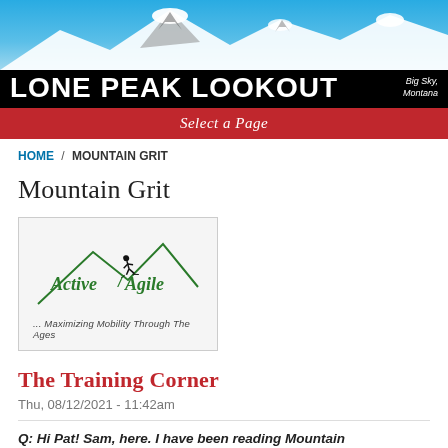[Figure (logo): Lone Peak Lookout newspaper header banner with mountain silhouette against blue sky and bold white text reading LONE PEAK LOOKOUT with subtitle Big Sky, Montana]
Select a Page
HOME / MOUNTAIN GRIT
Mountain Grit
[Figure (logo): Active Agile logo with green mountain line art and skier silhouette, tagline: ... Maximizing Mobility Through The Ages]
The Training Corner
Thu, 08/12/2021 - 11:42am
Q: Hi Pat! Sam, here. I have been reading Mountain